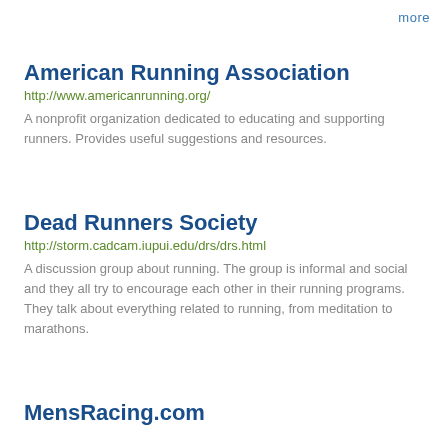more
American Running Association
http://www.americanrunning.org/
A nonprofit organization dedicated to educating and supporting runners. Provides useful suggestions and resources.
Dead Runners Society
http://storm.cadcam.iupui.edu/drs/drs.html
A discussion group about running. The group is informal and social and they all try to encourage each other in their running programs. They talk about everything related to running, from meditation to marathons.
MensRacing.com